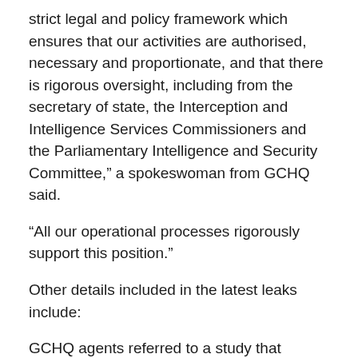strict legal and policy framework which ensures that our activities are authorised, necessary and proportionate, and that there is rigorous oversight, including from the secretary of state, the Interception and Intelligence Services Commissioners and the Parliamentary Intelligence and Security Committee,” a spokeswoman from GCHQ said.
“All our operational processes rigorously support this position.”
Other details included in the latest leaks include:
GCHQ agents referred to a study that indicated Firefox users were those most prone to neuroticism, while Internet Explorer users were those most likely to be conscientious but least open to new experiences